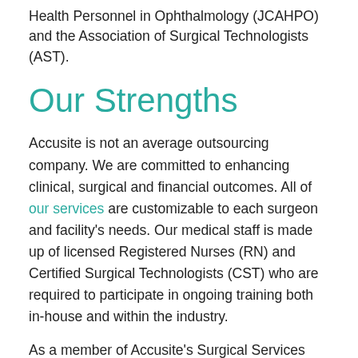Health Personnel in Ophthalmology (JCAHPO) and the Association of Surgical Technologists (AST).
Our Strengths
Accusite is not an average outsourcing company. We are committed to enhancing clinical, surgical and financial outcomes. All of our services are customizable to each surgeon and facility's needs. Our medical staff is made up of licensed Registered Nurses (RN) and Certified Surgical Technologists (CST) who are required to participate in ongoing training both in-house and within the industry.
As a member of Accusite's Surgical Services network, practices and facilities are able to take advantage of patient education resources, quality products and expert staff trainings. Most